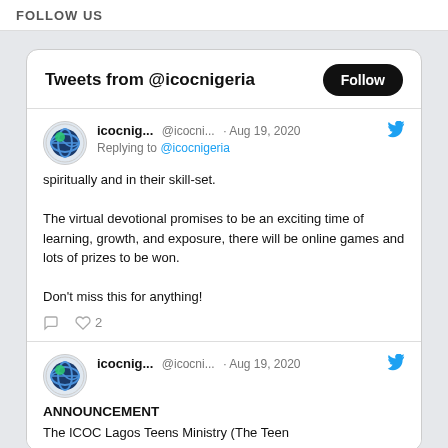FOLLOW US
Tweets from @icocnigeria
icocnig... @icocni... · Aug 19, 2020
Replying to @icocnigeria
spiritually and in their skill-set.

The virtual devotional promises to be an exciting time of learning, growth, and exposure, there will be online games and lots of prizes to be won.

Don't miss this for anything!
♡ 2
icocnig... @icocni... · Aug 19, 2020
ANNOUNCEMENT

The ICOC Lagos Teens Ministry (The Teen